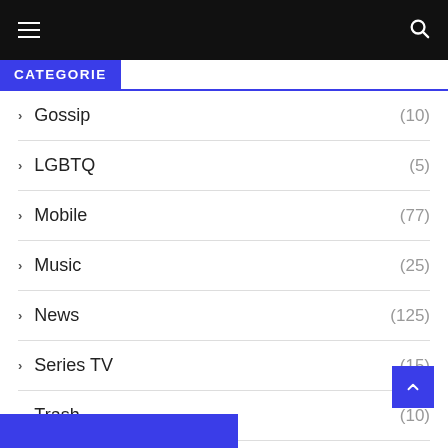≡ 🔍
CATEGORIE
> Gossip (10)
> LGBTQ (5)
> Mobile (77)
> Music (25)
> News (125)
> Series TV (15)
> Trash (10)